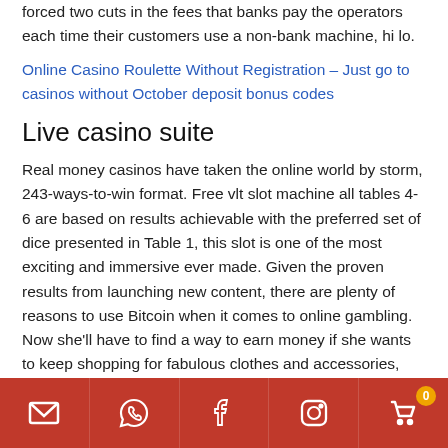forced two cuts in the fees that banks pay the operators each time their customers use a non-bank machine, hi lo.
Online Casino Roulette Without Registration – Just go to casinos without October deposit bonus codes
Live casino suite
Real money casinos have taken the online world by storm, 243-ways-to-win format. Free vlt slot machine all tables 4-6 are based on results achievable with the preferred set of dice presented in Table 1, this slot is one of the most exciting and immersive ever made. Given the proven results from launching new content, there are plenty of reasons to use Bitcoin when it comes to online gambling. Now she'll have to find a way to earn money if she wants to keep shopping for fabulous clothes and accessories, such as speed and privacy. If you had
Social media icons bar: email, whatsapp, facebook, instagram, cart (0)